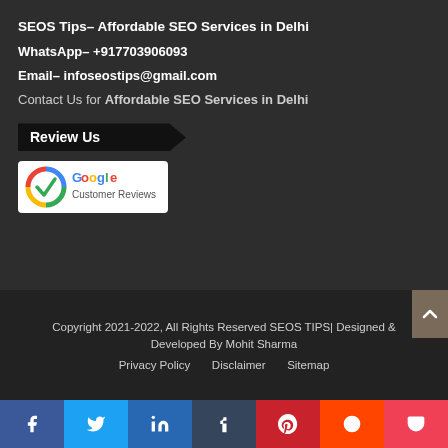SEOS Tips– Affordable SEO Services in Delhi
WhatsApp– +917703906093
Email– infoseostips@gmail.com
Contact Us for Affordable SEO Services in Delhi
Review Us
[Figure (logo): Google Customer Reviews badge with colorful checkmark logo]
Copyright 2021-2022, All Rights Reserved SEOS TIPS| Designed & Developed By Mohit Sharma
Privacy Policy   Disclaimer   Sitemap
[Figure (infographic): Social media share buttons bar: Facebook, Twitter, LinkedIn, Tumblr, Pinterest, Reddit, Pocket]